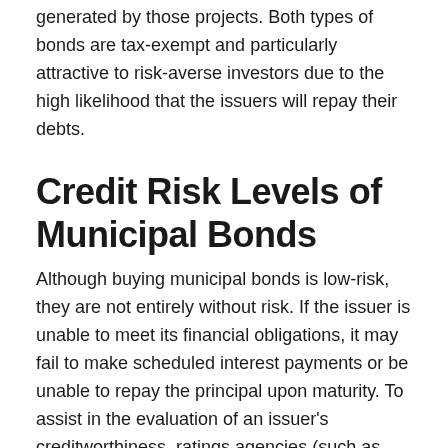generated by those projects. Both types of bonds are tax-exempt and particularly attractive to risk-averse investors due to the high likelihood that the issuers will repay their debts.
Credit Risk Levels of Municipal Bonds
Although buying municipal bonds is low-risk, they are not entirely without risk. If the issuer is unable to meet its financial obligations, it may fail to make scheduled interest payments or be unable to repay the principal upon maturity. To assist in the evaluation of an issuer's creditworthiness, ratings agencies (such as Moody's Investors Service and Standard & Poor's) analyze a bond issuer's ability to meet its debt obligations and issue ratings from 'Aaa' or 'AAA' for the most creditworthy issuers to 'Ca', 'C', 'D', 'DDD', 'DD', or 'D' for those in